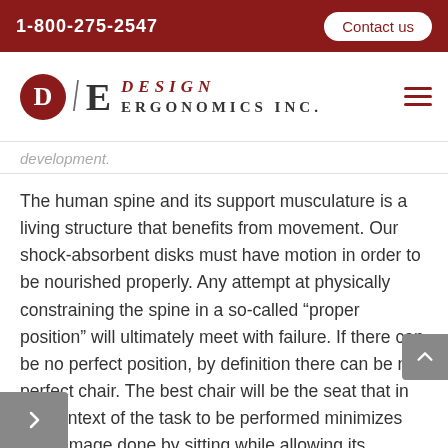1-800-275-2547  Contact us
[Figure (logo): Design Ergonomics Inc. logo with red D circle, slash, E letter, and company name in red italic DESIGN and black ERGONOMICS INC.]
development.
The human spine and its support musculature is a living structure that benefits from movement. Our shock-absorbent disks must have motion in order to be nourished properly. Any attempt at physically constraining the spine in a so-called “proper position” will ultimately meet with failure. If there can be no perfect position, by definition there can be no perfect chair. The best chair will be the seat that in the context of the task to be performed minimizes the damage done by sitting while allowing its occupant to transition through the hundreds of postures, all of which vary in their level of imperfection.